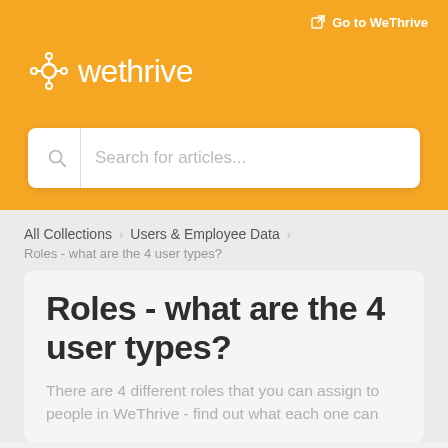Go to WeThrive
[Figure (logo): WeThrive logo — gear/molecule icon in white followed by 'wethrive' in white lowercase text on orange background]
[Figure (screenshot): Search bar with placeholder text 'Search for articles...' and a magnifying glass icon]
All Collections > Users & Employee Data >
Roles - what are the 4 user types?
Roles - what are the 4 user types?
There are 4 different roles that you can assign to people in WeThrive - find out what each one can